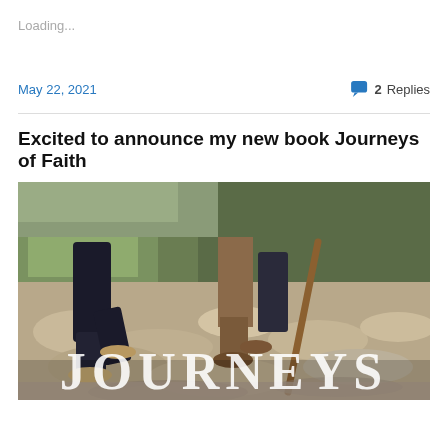Loading...
May 22, 2021
2 Replies
Excited to announce my new book Journeys of Faith
[Figure (photo): Book cover photo showing hikers' legs walking across rocky terrain with green landscape in background. Bottom portion shows the word JOURNEYS in large white serif letters.]